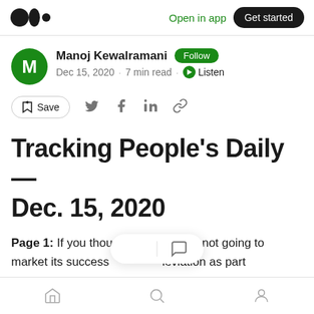Open in app · Get started
Manoj Kewalramani · Follow · Dec 15, 2020 · 7 min read · Listen
Save (toolbar with share icons)
Tracking People's Daily — Dec. 15, 2020
Page 1: If you thought that China is not going to market its success … ieviation as part
Home · Search · Profile (bottom navigation)